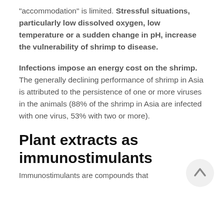“accommodation” is limited. Stressful situations, particularly low dissolved oxygen, low temperature or a sudden change in pH, increase the vulnerability of shrimp to disease.
Infections impose an energy cost on the shrimp. The generally declining performance of shrimp in Asia is attributed to the persistence of one or more viruses in the animals (88% of the shrimp in Asia are infected with one virus, 53% with two or more).
Plant extracts as immunostimulants
Immunostimulants are compounds that